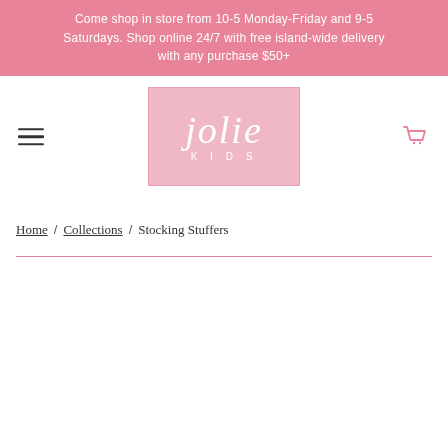Come shop in store from 10-5 Monday-Friday and 9-5 Saturdays. Shop online 24/7 with free island-wide delivery with any purchase $50+
[Figure (logo): Jolie Kids logo — pink rectangle with italic 'jolie' in white and 'KIDS' in white small caps below]
Home / Collections / Stocking Stuffers